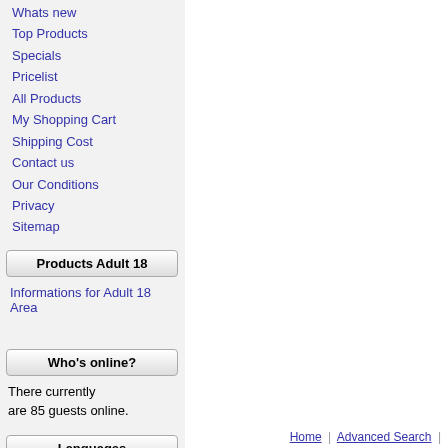Whats new
Top Products
Specials
Pricelist
All Products
My Shopping Cart
Shipping Cost
Contact us
Our Conditions
Privacy
Sitemap
Products Adult 18
Informations for Adult 18 Area
Who's online?
There currently are 85 guests online.
Languages
Home | Advanced Search |